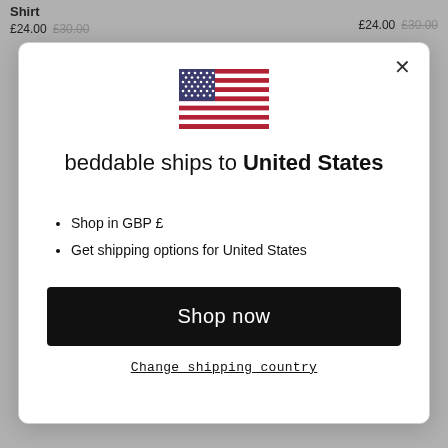Shirt £24.00 £30.00
£24.00 £30.00
[Figure (illustration): US flag emoji/icon]
beddable ships to United States
Shop in GBP £
Get shipping options for United States
Shop now
Change shipping country